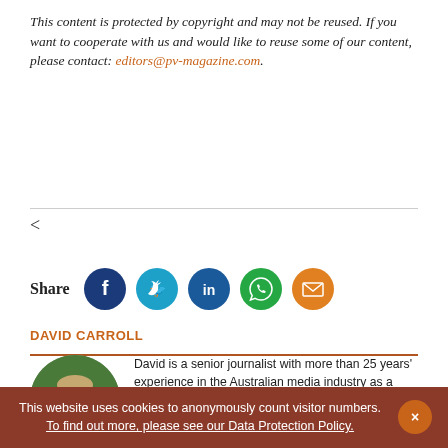This content is protected by copyright and may not be reused. If you want to cooperate with us and would like to reuse some of our content, please contact: editors@pv-magazine.com.
<
[Figure (infographic): Share row with social icons: Facebook (dark blue), Twitter (light blue), LinkedIn (dark blue), WhatsApp (green), Email (orange)]
DAVID CARROLL
[Figure (photo): Circular headshot of David Carroll, a man with grey-blonde hair wearing a light blue shirt, photographed outdoors.]
David is a senior journalist with more than 25 years' experience in the Australian media industry as a writer, designer and editor for print and online publications. Based in Queensland – Australia's Sunshine State – he joined pv magazine Australia in 2020 to help document the nation's ongoing shift to solar.
This website uses cookies to anonymously count visitor numbers. To find out more, please see our Data Protection Policy.